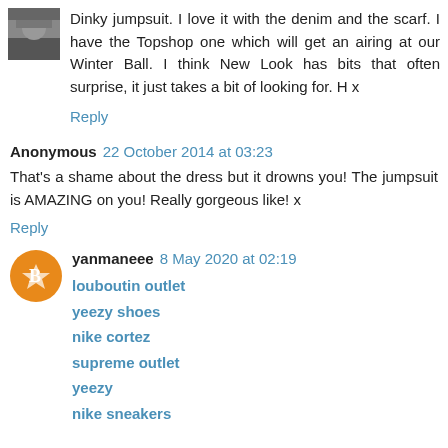Dinky jumpsuit. I love it with the denim and the scarf. I have the Topshop one which will get an airing at our Winter Ball. I think New Look has bits that often surprise, it just takes a bit of looking for. H x
Reply
Anonymous 22 October 2014 at 03:23
That's a shame about the dress but it drowns you! The jumpsuit is AMAZING on you! Really gorgeous like! x
Reply
yanmaneee 8 May 2020 at 02:19
louboutin outlet
yeezy shoes
nike cortez
supreme outlet
yeezy
nike sneakers